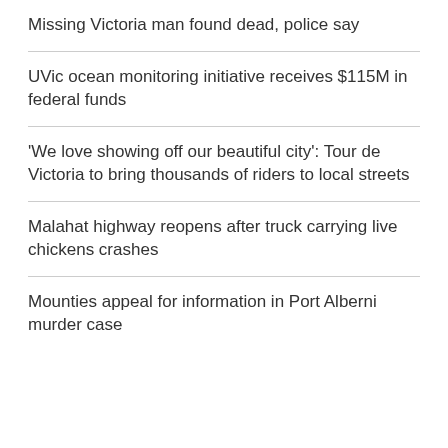Missing Victoria man found dead, police say
UVic ocean monitoring initiative receives $115M in federal funds
'We love showing off our beautiful city': Tour de Victoria to bring thousands of riders to local streets
Malahat highway reopens after truck carrying live chickens crashes
Mounties appeal for information in Port Alberni murder case